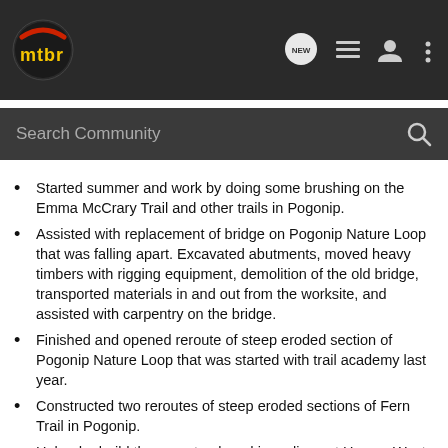mtbr — navigation header with logo, NEW, list, user, and menu icons
Search Community
Started summer and work by doing some brushing on the Emma McCrary Trail and other trails in Pogonip.
Assisted with replacement of bridge on Pogonip Nature Loop that was falling apart. Excavated abutments, moved heavy timbers with rigging equipment, demolition of the old bridge, transported materials in and out from the worksite, and assisted with carpentry on the bridge.
Finished and opened reroute of steep eroded section of Pogonip Nature Loop that was started with trail academy last year.
Constructed two reroutes of steep eroded sections of Fern Trail in Pogonip.
Helped rebuild the pumptrack and jump lines at Harvey West Park to make our Pumptrack Jam amazing.
Installed rock armoring at the bottom of U-Con trail.
Performed trail repairs and installed stone steps at Arana Gulch.